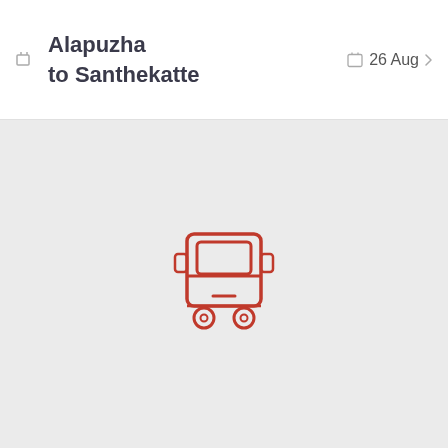Alapuzha to Santhekatte  26 Aug
[Figure (illustration): Red outlined bus icon (front view) centered on a light gray background]